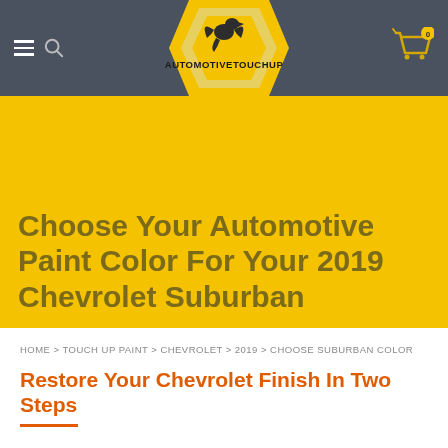AutomotiveTouchup website header with hamburger menu, search icon, logo, and cart icon
Choose Your Automotive Paint Color For Your 2019 Chevrolet Suburban
HOME > TOUCH UP PAINT > CHEVROLET > 2019 > CHOOSE SUBURBAN COLOR
Restore Your Chevrolet Finish In Two Steps